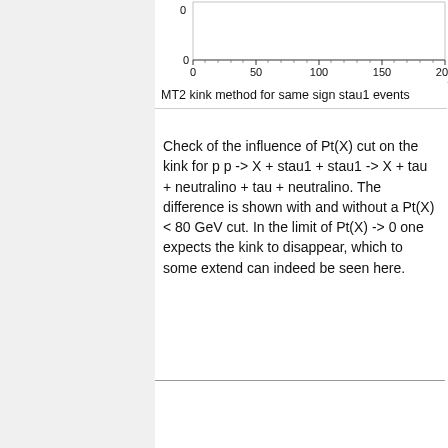[Figure (continuous-plot): Partial view of a plot showing x-axis with tick marks and labels at 0, 50, 100, 150, 200. The 0 tick label is at the bottom-left of the visible chart area.]
MT2 kink method for same sign stau1 events
Check of the influence of Pt(X) cut on the kink for p p -> X + stau1 + stau1 -> X + tau + neutralino + tau + neutralino. The difference is shown with and without a Pt(X) < 80 GeV cut. In the limit of Pt(X) -> 0 one expects the kink to disappear, which to some extend can indeed be seen here.